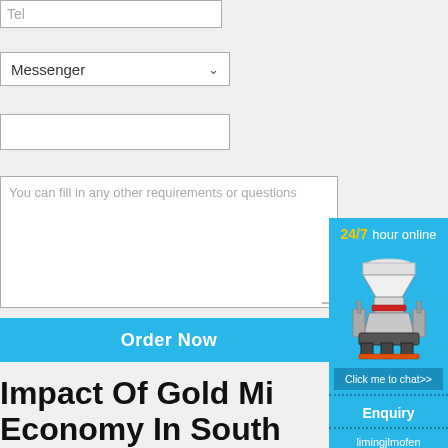Tel
Messenger
You can fill in any other requirements or questions
Order Now
[Figure (screenshot): A sidebar popup widget with blue background showing '24/7 hour online' text in yellow/white, an image of a cone crusher machine, a 'Click me to chat>>' button, an 'Enquiry' section, and 'limingjlmofen' text.]
Impact Of Gold Mi... Economy In South...